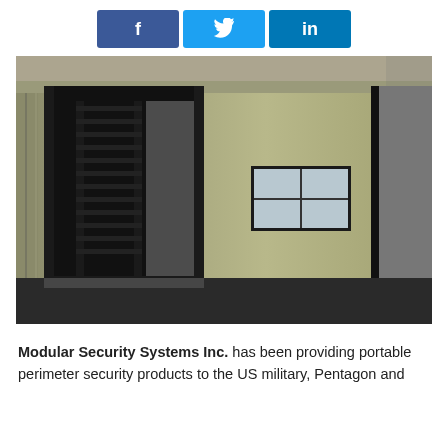[Figure (other): Social media share buttons: Facebook (f), Twitter (bird icon), LinkedIn (in)]
[Figure (photo): A tan/khaki colored military shipping container converted into a portable security checkpoint, featuring a black metal turnstile gate in the doorway, a window, and interior lighting, photographed inside an industrial warehouse.]
Modular Security Systems Inc. has been providing portable perimeter security products to the US military, Pentagon and